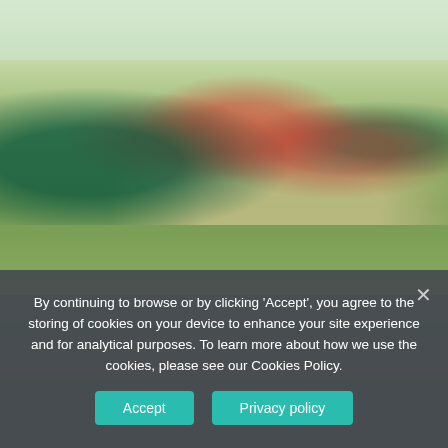[Figure (photo): Youth rugby match in progress on a grass field. Players in teal/black jerseys and red/white/black striped jerseys running with the ball. Player wearing number 50 visible on the left.]
[Figure (photo): Second rugby match photo partially visible behind cookie consent overlay, showing players on a field.]
By continuing to browse or by clicking ‘Accept’, you agree to the storing of cookies on your device to enhance your site experience and for analytical purposes. To learn more about how we use the cookies, please see our Cookies Policy.